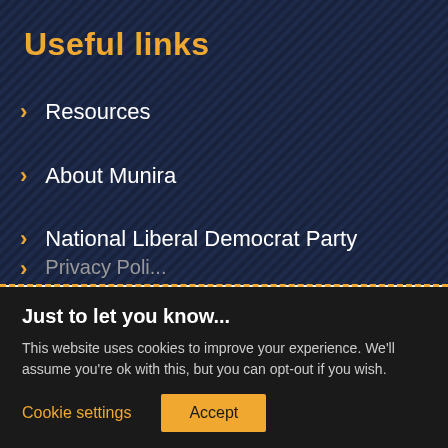Useful links
Resources
About Munira
National Liberal Democrat Party
Twickenham and Richmond Liberal Democrats
Privacy Poli...
Just to let you know...
This website uses cookies to improve your experience. We'll assume you're ok with this, but you can opt-out if you wish.
Cookie settings
Accept